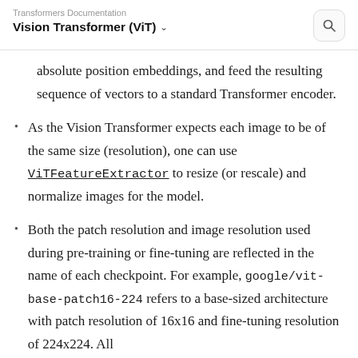Transformers Documentation
Vision Transformer (ViT)
absolute position embeddings, and feed the resulting sequence of vectors to a standard Transformer encoder.
As the Vision Transformer expects each image to be of the same size (resolution), one can use ViTFeatureExtractor to resize (or rescale) and normalize images for the model.
Both the patch resolution and image resolution used during pre-training or fine-tuning are reflected in the name of each checkpoint. For example, google/vit-base-patch16-224 refers to a base-sized architecture with patch resolution of 16x16 and fine-tuning resolution of 224x224. All